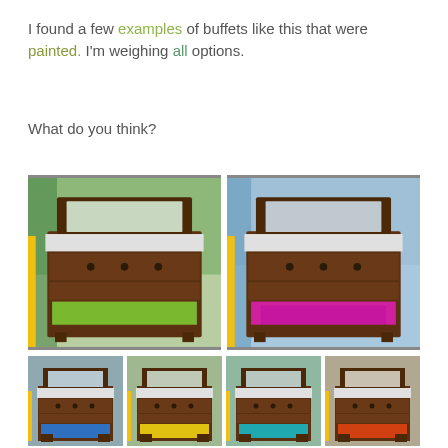I found a few examples of buffets like this that were painted. I'm weighing all options.
What do you think?
[Figure (photo): Two side-by-side photos of an antique wooden buffet/sideboard with mirror, shown outdoors. Left photo has green painted lower shelf interior. Right photo has magenta/pink painted lower shelf interior.]
[Figure (photo): Four smaller thumbnail photos of the same antique buffet with different painted color options for the lower shelf interior.]